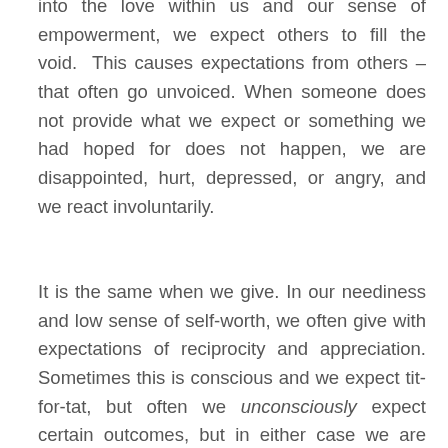into the love within us and our sense of empowerment, we expect others to fill the void. This causes expectations from others – that often go unvoiced. When someone does not provide what we expect or something we had hoped for does not happen, we are disappointed, hurt, depressed, or angry, and we react involuntarily.
It is the same when we give. In our neediness and low sense of self-worth, we often give with expectations of reciprocity and appreciation. Sometimes this is conscious and we expect tit-for-tat, but often we unconsciously expect certain outcomes, but in either case we are hurt when they are not met. Our offer is not